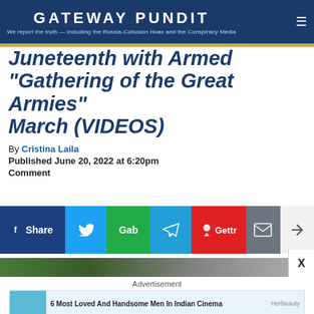GATEWAY PUNDIT — We report the truth — including the Russia-Collusion Hoax and the Conspiracy Media
Juneteenth with Armed "Gathering of the Great Armies" March (VIDEOS)
By Cristina Laila
Published June 20, 2022 at 6:20pm
Comment
[Figure (infographic): Social media share buttons: Facebook Share, Twitter, Gab, Telegram, Gettr, Email, More]
[Figure (photo): Partial photo strip of outdoor scene and advertisement for 6 Most Loved And Handsome Men In Indian Cinema by Herbeauty]